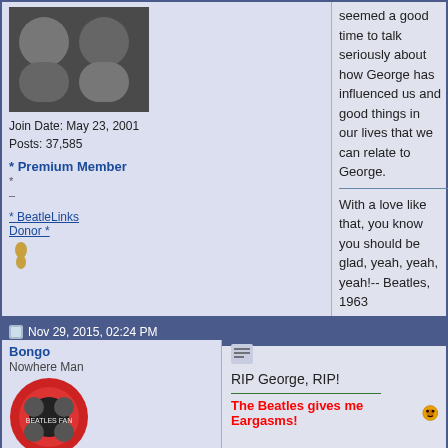seemed a good time to talk seriously about how George has influenced us and good things in our lives that we can relate to George.
With a love like that, you know you should be glad, yeah, yeah, yeah!-- Beatles, 1963
If I seem to act unkind, it's only me, it's not my mind -- George Harrison, 1966
http://www.ipetitions.com/petition/c...rtc/signatures
http://www.reddit.com/r/troubledteen...aten_at_gree
http://www.youtube.com/watch?v=g7g0oiJ52Gw
Join Date: May 23, 2001
Posts: 37,585
* Premium Member
*
–
* BeatleLinks Donor *
Nov 29, 2015, 02:24 PM
Bongo
Nowhere Man
Join Date: Mar 22, 2014
Posts: 236
RIP George, RIP!
The Beatles gives me Eargasms!